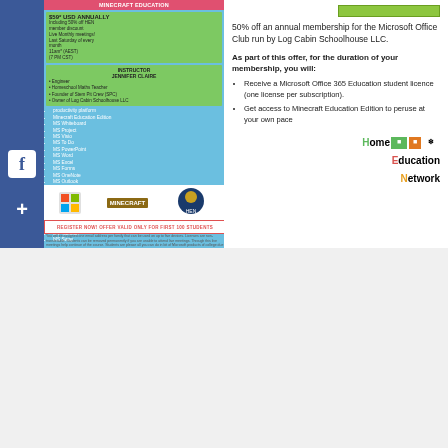[Figure (infographic): Microsoft Office Club / Minecraft Education flyer with pricing, instructor info, and product list on blue/green background]
50% off an annual membership for the Microsoft Office Club run by Log Cabin Schoolhouse LLC.
As part of this offer, for the duration of your membership, you will:
Receive a Microsoft Office 365 Education student licence (one license per subscription).
Get access to Minecraft Education Edition to peruse at your own pace
[Figure (logo): Home Education Network logo with colored H, E, N letters]
[Figure (logo): The Curious Correspondence Club decorative script logo]
The Curious Correspondence club Initiation Collection and Adventure Collection bundles each include three